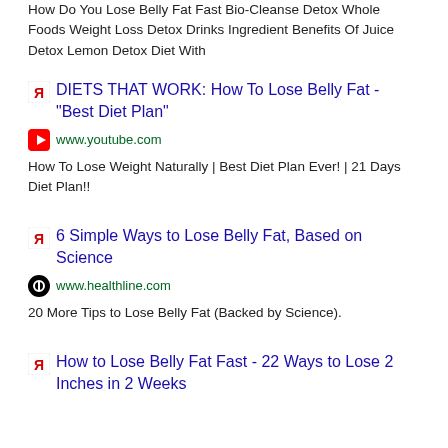How Do You Lose Belly Fat Fast Bio-Cleanse Detox Whole Foods Weight Loss Detox Drinks Ingredient Benefits Of Juice Detox Lemon Detox Diet With
DIETS THAT WORK: How To Lose Belly Fat - "Best Diet Plan"
www.youtube.com
How To Lose Weight Naturally | Best Diet Plan Ever! | 21 Days Diet Plan!!
6 Simple Ways to Lose Belly Fat, Based on Science
www.healthline.com
20 More Tips to Lose Belly Fat (Backed by Science).
How to Lose Belly Fat Fast - 22 Ways to Lose 2 Inches in 2 Weeks